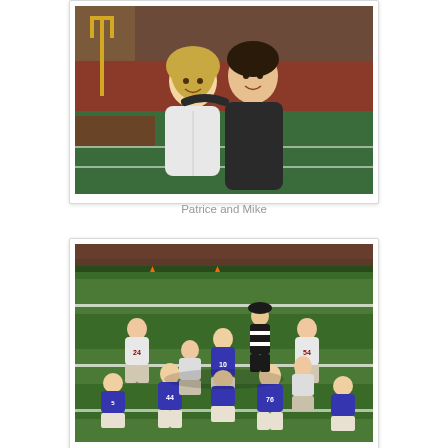[Figure (photo): Two people, a blonde woman and a man in a dark jacket, smiling together at an NFL football stadium with the field visible in the background.]
Patrice and Mike
[Figure (photo): NFL football game action shot showing players on the field at the line of scrimmage. Blue-uniformed players (New York Giants) face white-uniformed players. A referee stands in the background. Player numbers visible include #10, #44, #24, #76.]